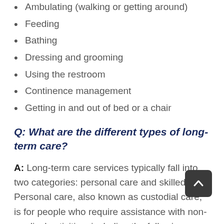Ambulating (walking or getting around)
Feeding
Bathing
Dressing and grooming
Using the restroom
Continence management
Getting in and out of bed or a chair
Q: What are the different types of long-term care?
A: Long-term care services typically fall into two categories: personal care and skilled care. Personal care, also known as custodial care, is for people who require assistance with non-medical activities, including the following: